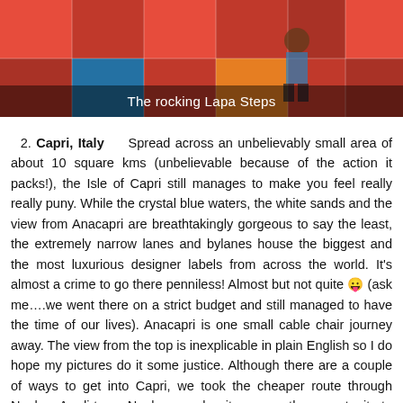[Figure (photo): Photo of the Lapa Steps with colorful mosaic tiles in red, blue, and orange hues, with a person sitting on the steps]
The rocking Lapa Steps
2. Capri, Italy    Spread across an unbelievably small area of about 10 square kms (unbelievable because of the action it packs!), the Isle of Capri still manages to make you feel really really puny. While the crystal blue waters, the white sands and the view from Anacapri are breathtakingly gorgeous to say the least, the extremely narrow lanes and bylanes house the biggest and the most luxurious designer labels from across the world. It's almost a crime to go there penniless! Almost but not quite 😛 (ask me….we went there on a strict budget and still managed to have the time of our lives). Anacapri is one small cable chair journey away. The view from the top is inexplicable in plain English so I do hope my pictures do it some justice. Although there are a couple of ways to get into Capri, we took the cheaper route through Naples. As dirty as Naples may be, it gave us the opportunity to taste the original Napolitano Pizza. While you are at Capri, do not miss the beautiful Blue Grotto as well!